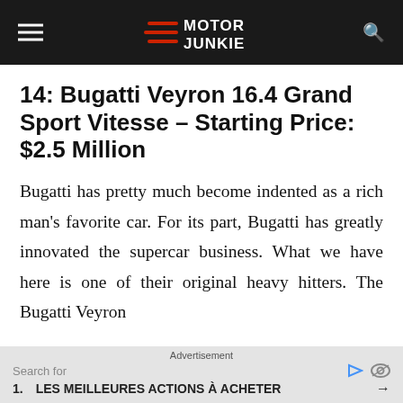Motor Junkie
14: Bugatti Veyron 16.4 Grand Sport Vitesse – Starting Price: $2.5 Million
Bugatti has pretty much become indented as a rich man's favorite car. For its part, Bugatti has greatly innovated the supercar business. What we have here is one of their original heavy hitters. The Bugatti Veyron
Advertisement
Search for
1. LES MEILLEURES ACTIONS À ACHETER →